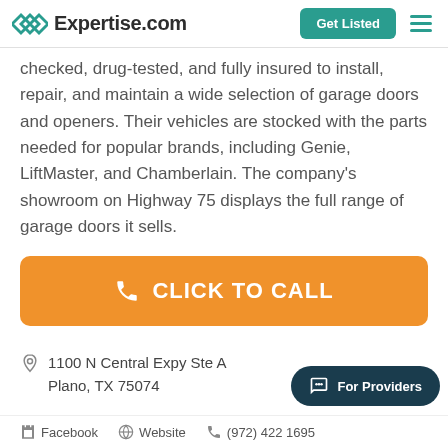Expertise.com — Get Listed
checked, drug-tested, and fully insured to install, repair, and maintain a wide selection of garage doors and openers. Their vehicles are stocked with the parts needed for popular brands, including Genie, LiftMaster, and Chamberlain. The company's showroom on Highway 75 displays the full range of garage doors it sells.
CLICK TO CALL
1100 N Central Expy Ste A
Plano, TX 75074
Facebook   Website   (972) 422 1695
For Providers